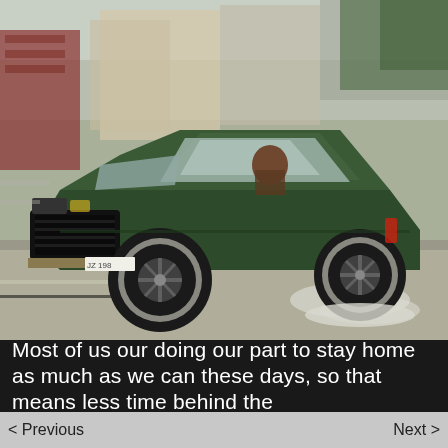[Figure (photo): A dark green Ford Mustang fastback (from the movie Bullitt) driving on a city street with motion blur in the background, smoke coming from the rear tires. A driver is visible through the window. Urban buildings and trees in background.]
Most of us our doing our part to stay home as much as we can these days, so that means less time behind the
< Previous    Next >